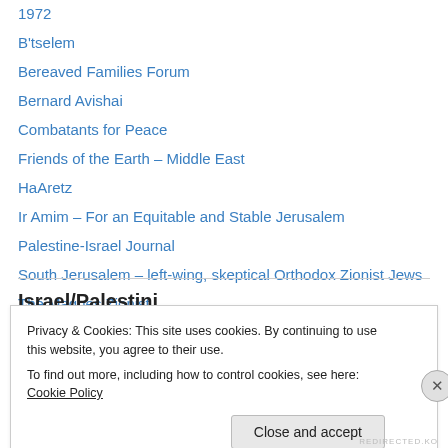1972
B'tselem
Bereaved Families Forum
Bernard Avishai
Combatants for Peace
Friends of the Earth – Middle East
HaAretz
Ir Amim – For an Equitable and Stable Jerusalem
Palestine-Israel Journal
South Jerusalem – left-wing, skeptical Orthodox Zionist Jews
The Magnes Zionist
Privacy & Cookies: This site uses cookies. By continuing to use this website, you agree to their use.
To find out more, including how to control cookies, see here: Cookie Policy
Close and accept